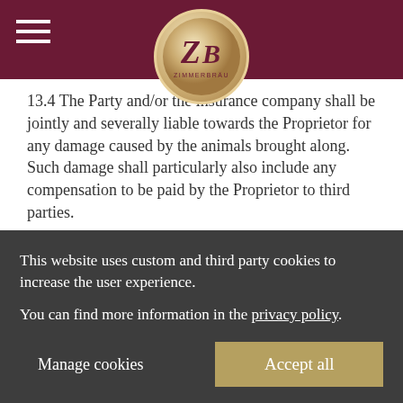Header bar with hamburger menu and Zimmerbräu logo
13.4 The Party and/or the insurance company shall be jointly and severally liable towards the Proprietor for any damage caused by the animals brought along. Such damage shall particularly also include any compensation to be paid by the Proprietor to third parties.
13.5 Animals shall not be permitted to enter the lounges, saloons, restaurants and wellness zones.
§ 14 Prolongation of the accommodation
14.1 The Party may not claim for a prolongation of their stay.
This website uses custom and third party cookies to increase the user experience.

You can find more information in the privacy policy.

Manage cookies   Accept all